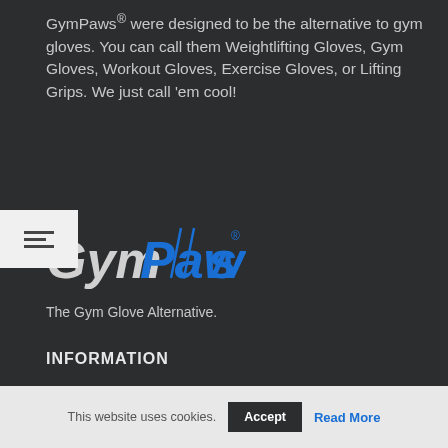GymPaws® were designed to be the alternative to gym gloves. You can call them Weightlifting Gloves, Gym Gloves, Workout Gloves, Exercise Gloves, or Lifting Grips. We just call 'em cool!
[Figure (logo): GymPaws logo with stylized blue text on dark background]
The Gym Glove Alternative.
INFORMATION
CONTACT
WHY GYMPAWS GYM GLOVES
WHOLESALE
SHIPPING & RETURNS
This website uses cookies.
Accept
Read More